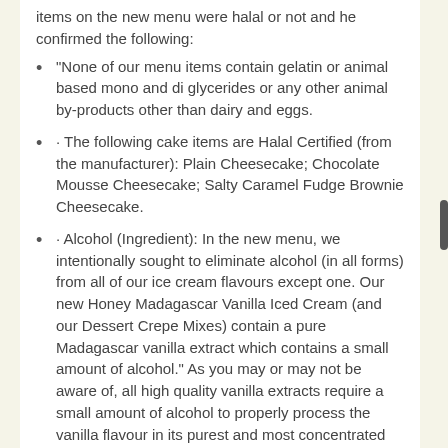items on the new menu were halal or not and he confirmed the following:
“None of our menu items contain gelatin or animal based mono and di glycerides or any other animal by-products other than dairy and eggs.
· The following cake items are Halal Certified (from the manufacturer): Plain Cheesecake; Chocolate Mousse Cheesecake; Salty Caramel Fudge Brownie Cheesecake.
· Alcohol (Ingredient): In the new menu, we intentionally sought to eliminate alcohol (in all forms) from all of our ice cream flavours except one. Our new Honey Madagascar Vanilla Iced Cream (and our Dessert Crepe Mixes) contain a pure Madagascar vanilla extract which contains a small amount of alcohol.” As you may or may not be aware of, all high quality vanilla extracts require a small amount of alcohol to properly process the vanilla flavour in its purest and most concentrated form- this unfortunately